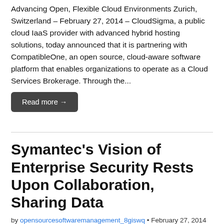Advancing Open, Flexible Cloud Environments Zurich, Switzerland – February 27, 2014 – CloudSigma, a public cloud IaaS provider with advanced hybrid hosting solutions, today announced that it is partnering with CompatibleOne, an open source, cloud-aware software platform that enables organizations to operate as a Cloud Services Brokerage. Through the...
Read more →
Symantec's Vision of Enterprise Security Rests Upon Collaboration, Sharing Data
by opensourcesoftwaremanagement_8giswq • February 27, 2014
Symantec's chief of security intelligence suggests an approach